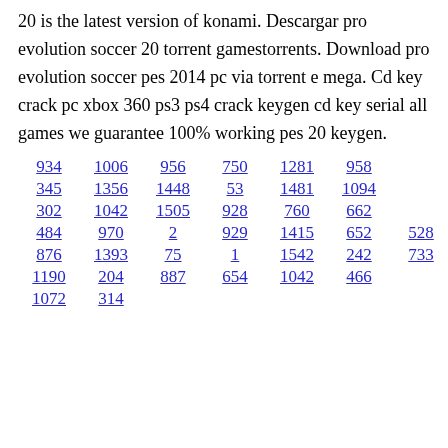20 is the latest version of konami. Descargar pro evolution soccer 20 torrent gamestorrents. Download pro evolution soccer pes 2014 pc via torrent e mega. Cd key crack pc xbox 360 ps3 ps4 crack keygen cd key serial all games we guarantee 100% working pes 20 keygen.
934 1006 956 750 1281 958
345 1356 1448 53 1481 1094
302 1042 1505 928 760 662
484 970 2 929 1415 652 528
876 1393 75 1 1542 242 733
1190 204 887 654 1042 466
1072 314